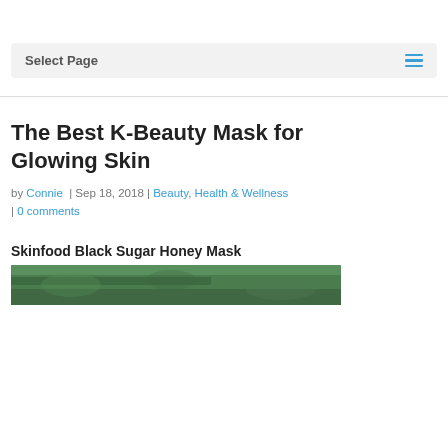Select Page
The Best K-Beauty Mask for Glowing Skin
by Connie | Sep 18, 2018 | Beauty, Health & Wellness | 0 comments
Skinfood Black Sugar Honey Mask
[Figure (photo): Green leafy plants or herbs, cropped at bottom of page]